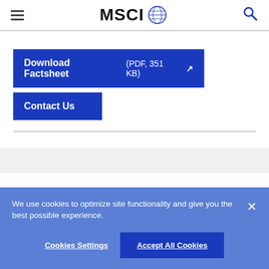MSCI
Download Factsheet (PDF, 351 KB)
Contact Us
We use cookies to optimize site functionality and give you the best possible experience.
Cookies Settings
Accept All Cookies